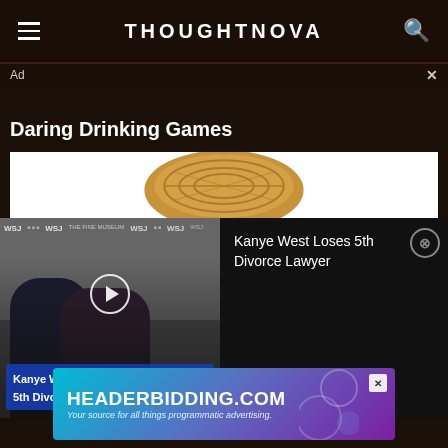THOUGHTNOVA
Ad  ×
Daring Drinking Games
[Figure (photo): White background with a woven/braided bread or hat object visible at the center-right]
[Figure (screenshot): Video player overlay showing Kanye West and Kim Kardashian at a WSJ event with play button. Caption overlay reads: Kanye West Loses 5th Divorce Lawyer. Right panel on black background shows text: Kanye West Loses 5th Divorce Lawyer with a close button.]
[Figure (other): Banner ad for HEADERBIDDING.COM with text: Your source for all things programmatic advertising. Blue/purple gradient background with decorative circles.]